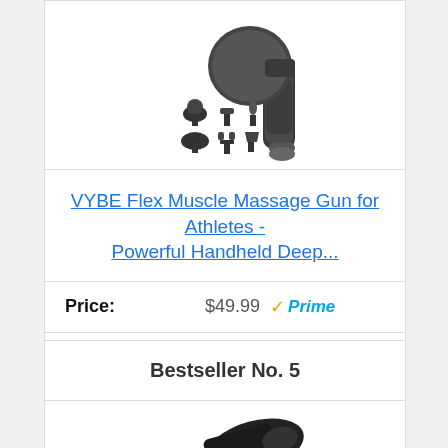[Figure (photo): VYBE Flex Muscle Massage Gun product photo showing the device and 6 massage head attachments on a white background]
VYBE Flex Muscle Massage Gun for Athletes - Powerful Handheld Deep...
Price: $49.99 ✓Prime
Buy on Amazon
Bestseller No. 5
[Figure (photo): Partially visible product image at bottom of page showing a black item on white background]